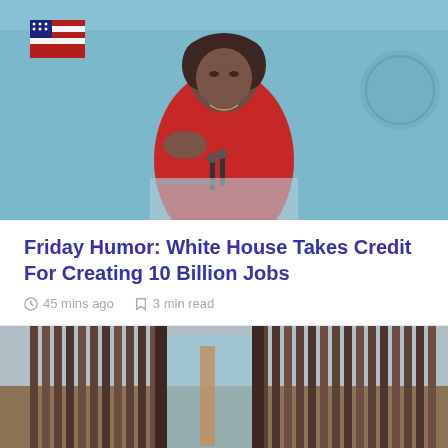[Figure (photo): Woman in red jacket speaking at White House briefing room podium with microphones, US flag visible in background, light blue walls]
Friday Humor: White House Takes Credit For Creating 10 Billion Jobs
45 mins ago   3 min read
[Figure (photo): Border wall with vertical brown/rust colored metal slats, gap visible in the wall, sky in background]